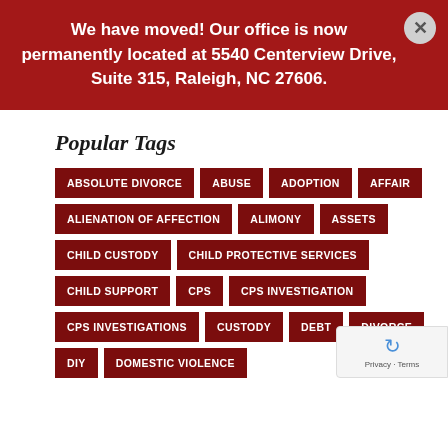We have moved! Our office is now permanently located at 5540 Centerview Drive, Suite 315, Raleigh, NC 27606.
Popular Tags
ABSOLUTE DIVORCE
ABUSE
ADOPTION
AFFAIR
ALIENATION OF AFFECTION
ALIMONY
ASSETS
CHILD CUSTODY
CHILD PROTECTIVE SERVICES
CHILD SUPPORT
CPS
CPS INVESTIGATION
CPS INVESTIGATIONS
CUSTODY
DEBT
DIVORCE
DIY
DOMESTIC VIOLENCE